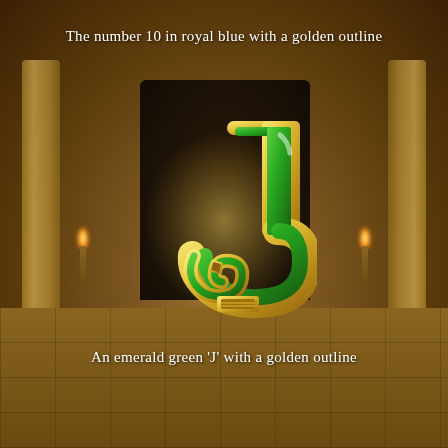The number 10 in royal blue with a golden outline
[Figure (illustration): An emerald green letter 'J' with a golden decorative outline, rendered as a casino/slot machine symbol against a blurred Egyptian hall background with stone columns and torches]
An emerald green 'J' with a golden outline